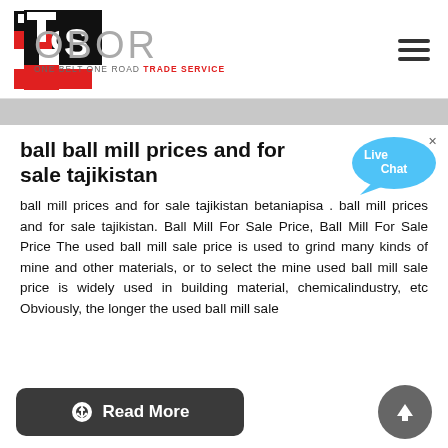OBOR - ONE BELT ONE ROAD TRADE SERVICE
ball ball mill prices and for sale tajikistan
ball mill prices and for sale tajikistan betaniapisa . ball mill prices and for sale tajikistan. Ball Mill For Sale Price, Ball Mill For Sale Price The used ball mill sale price is used to grind many kinds of mine and other materials, or to select the mine used ball mill sale price is widely used in building material, chemicalindustry, etc Obviously, the longer the used ball mill sale
[Figure (other): Live Chat speech bubble widget in blue]
Read More
[Figure (other): Scroll to top circular dark button with upward arrow]